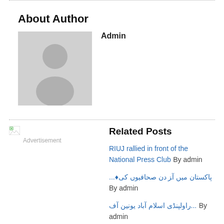About Author
Admin
[Figure (illustration): Default avatar placeholder image showing a grey silhouette of a person on a grey background]
Related Posts
[Figure (other): Small broken image icon with green corner, labelled Advertisement]
RIUJ rallied in front of the National Press Club By admin
پاکستان میں آﺰ دن صحافیوں کی◆... By admin
...راولپنڈی اسلام آباد یونین آف By admin